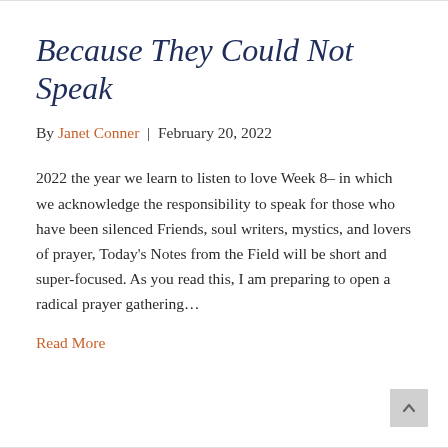Because They Could Not Speak
By Janet Conner | February 20, 2022
2022 the year we learn to listen to love Week 8– in which we acknowledge the responsibility to speak for those who have been silenced Friends, soul writers, mystics, and lovers of prayer, Today's Notes from the Field will be short and super-focused. As you read this, I am preparing to open a radical prayer gathering…
Read More